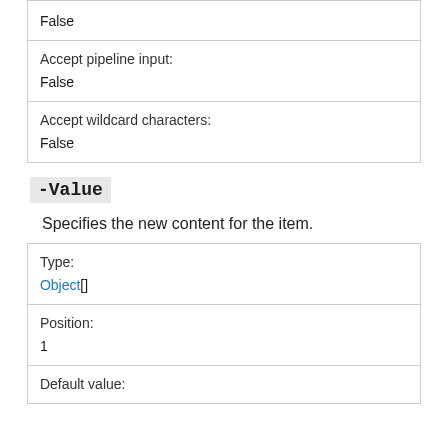| Accept pipeline input: | False |
| Accept wildcard characters: | False |
-Value
Specifies the new content for the item.
| Type: | Object[] |
| Position: | 1 |
| Default value: |  |